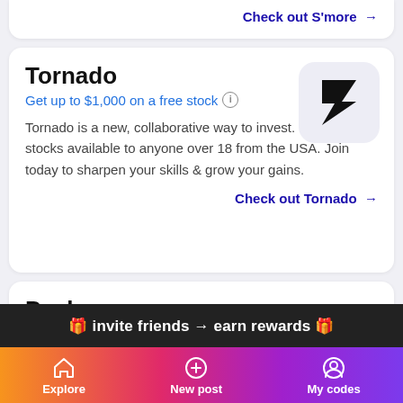Check out S'more →
Tornado
Get up to $1,000 on a free stock ⓘ
Tornado is a new, collaborative way to invest. Investing in stocks available to anyone over 18 from the USA. Join today to sharpen your skills & grow your gains.
[Figure (logo): Tornado app logo: black lightning bolt / Z-shape on light lavender background]
Check out Tornado →
Peekage
1000 coins ⓘ
[Figure (logo): Peekage app logo: pink/red stylized 'ok' letters icon]
🎁 invite friends → earn rewards 🎁
Explore   New post   My codes